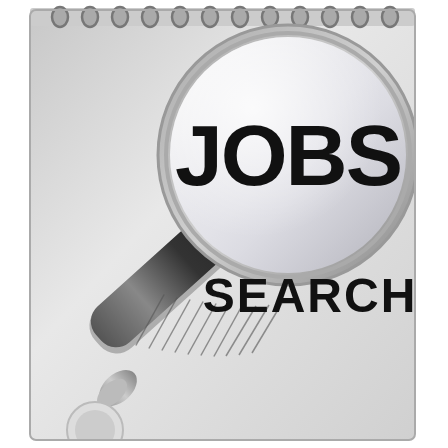[Figure (illustration): A book cover showing a magnifying glass with the word JOBS inside the lens and SEARCH written below it, on a light gray gradient background. The book has a spiral binding at the top.]